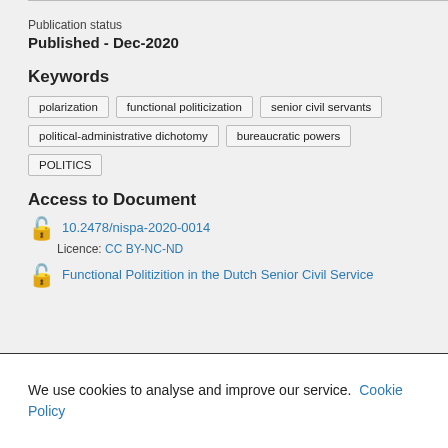Publication status
Published - Dec-2020
Keywords
polarization
functional politicization
senior civil servants
political-administrative dichotomy
bureaucratic powers
POLITICS
Access to Document
10.2478/nispa-2020-0014
Licence: CC BY-NC-ND
Functional Politizition in the Dutch Senior Civil Service
We use cookies to analyse and improve our service. Cookie Policy